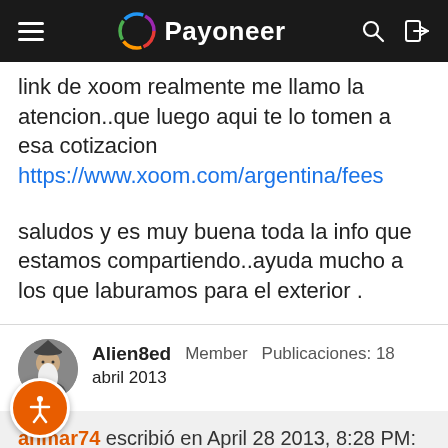Payoneer
link de xoom realmente me llamo la atencion..que luego aqui te lo tomen a esa cotizacion https://www.xoom.com/argentina/fees
saludos y es muy buena toda la info que estamos compartiendo..ayuda mucho a los que laburamos para el exterior .
Alien8ed  Member  Publicaciones: 18
abril 2013
anmar74 escribió en April 28 2013, 8:28 PM: